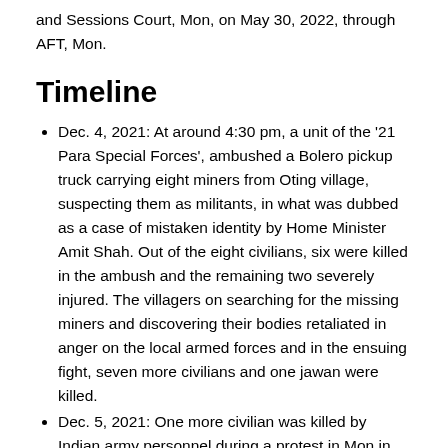and Sessions Court, Mon, on May 30, 2022, through AFT, Mon.
Timeline
Dec. 4, 2021: At around 4:30 pm, a unit of the '21 Para Special Forces', ambushed a Bolero pickup truck carrying eight miners from Oting village, suspecting them as militants, in what was dubbed as a case of mistaken identity by Home Minister Amit Shah. Out of the eight civilians, six were killed in the ambush and the remaining two severely injured. The villagers on searching for the missing miners and discovering their bodies retaliated in anger on the local armed forces and in the ensuing fight, seven more civilians and one jawan were killed.
Dec. 5, 2021: One more civilian was killed by Indian army personnel during a protest in Mon in connection with the Oting incident. The government of Nagaland constitutes a